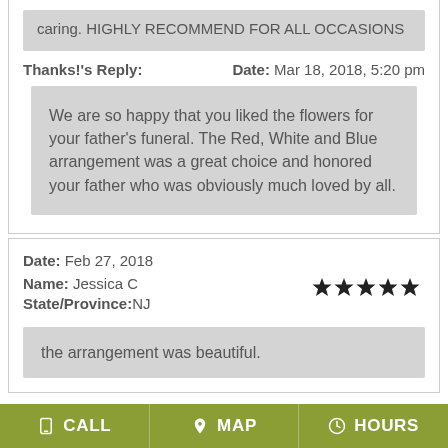caring. HIGHLY RECOMMEND FOR ALL OCCASIONS
Thanks!'s Reply:    Date: Mar 18, 2018, 5:20 pm
We are so happy that you liked the flowers for your father's funeral. The Red, White and Blue arrangement was a great choice and honored your father who was obviously much loved by all.
Date: Feb 27, 2018
Name: Jessica C
State/Province:NJ
[Figure (other): Five filled star rating icons]
the arrangement was beautiful.
CALL   MAP   HOURS